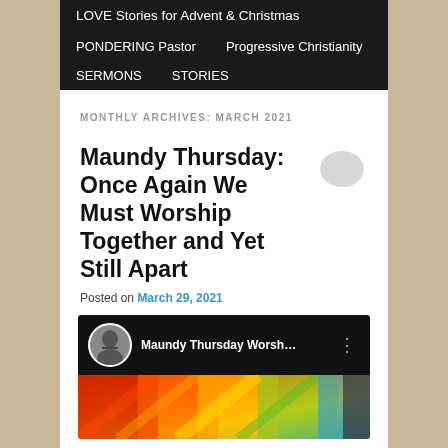LOVE Stories for Advent & Christmas
PONDERING Pastor   Progressive Christianity
SERMONS   STORIES
MONTHLY ARCHIVES: MARCH 2021
Maundy Thursday: Once Again We Must Worship Together and Yet Still Apart
Posted on March 29, 2021
[Figure (screenshot): YouTube video thumbnail showing Maundy Thursday Worship with a person's avatar and colorful quilt background]